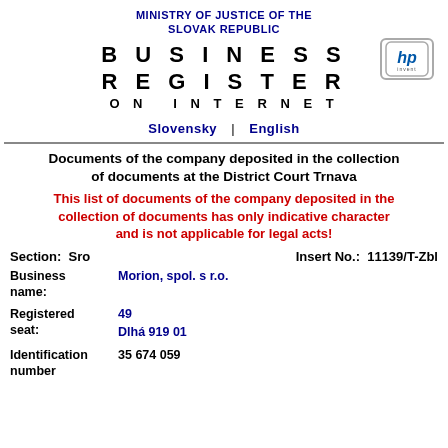MINISTRY OF JUSTICE OF THE SLOVAK REPUBLIC
BUSINESS REGISTER ON INTERNET
[Figure (logo): HP Invent logo in a rounded rectangle box]
Slovensky | English
Documents of the company deposited in the collection of documents at the District Court Trnava
This list of documents of the company deposited in the collection of documents has only indicative character and is not applicable for legal acts!
Section:  Sro        Insert No.:  11139/T-Zbl
Business name: Morion, spol. s r.o.
Registered seat: 49 Dlhá 919 01
Identification number: 35 674 059